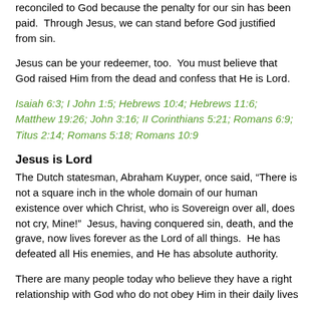reconciled to God because the penalty for our sin has been paid. Through Jesus, we can stand before God justified from sin.
Jesus can be your redeemer, too. You must believe that God raised Him from the dead and confess that He is Lord.
Isaiah 6:3; I John 1:5; Hebrews 10:4; Hebrews 11:6; Matthew 19:26; John 3:16; II Corinthians 5:21; Romans 6:9; Titus 2:14; Romans 5:18; Romans 10:9
Jesus is Lord
The Dutch statesman, Abraham Kuyper, once said, “There is not a square inch in the whole domain of our human existence over which Christ, who is Sovereign over all, does not cry, Mine!” Jesus, having conquered sin, death, and the grave, now lives forever as the Lord of all things. He has defeated all His enemies, and He has absolute authority.
There are many people today who believe they have a right relationship with God who do not obey Him in their daily lives